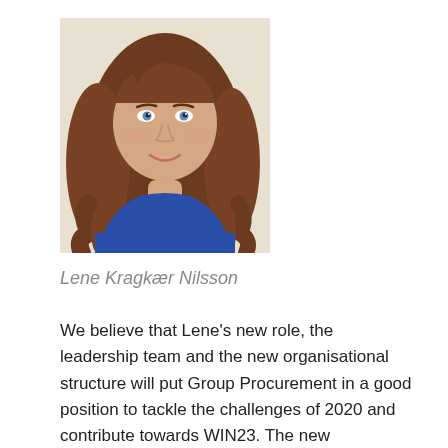[Figure (photo): Portrait photo of a woman with long brown hair, blue eyes, wearing a blue top, smiling, against a light background.]
Lene Kragkær Nilsson
We believe that Lene's new role, the leadership team and the new organisational structure will put Group Procurement in a good position to tackle the challenges of 2020 and contribute towards WIN23. The new departmental structure will also help facilitate even more focus on the various functions, such as digital, operations and compliance. It will also